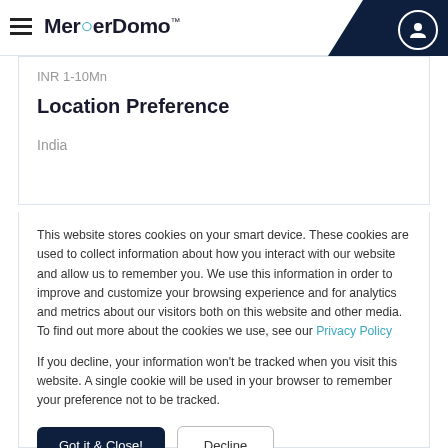MergerDomo
INR 1-10Mn
Location Preference
India
This website stores cookies on your smart device. These cookies are used to collect information about how you interact with our website and allow us to remember you. We use this information in order to improve and customize your browsing experience and for analytics and metrics about our visitors both on this website and other media. To find out more about the cookies we use, see our Privacy Policy
If you decline, your information won't be tracked when you visit this website. A single cookie will be used in your browser to remember your preference not to be tracked.
Got it & Close!
Decline